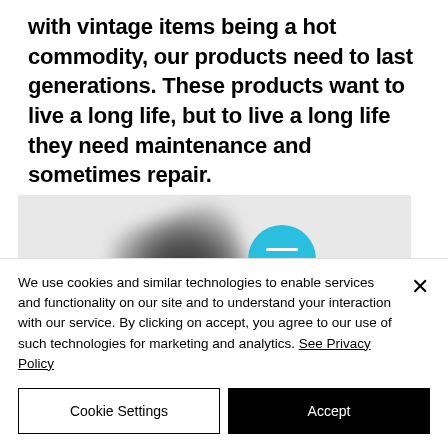with vintage items being a hot commodity, our products need to last generations. These products want to live a long life, but to live a long life they need maintenance and sometimes repair.
[Figure (screenshot): A blurred dark object (possibly a leather item) on a light grey background, with a teal/cyan circular hamburger menu button overlay.]
We use cookies and similar technologies to enable services and functionality on our site and to understand your interaction with our service. By clicking on accept, you agree to our use of such technologies for marketing and analytics. See Privacy Policy